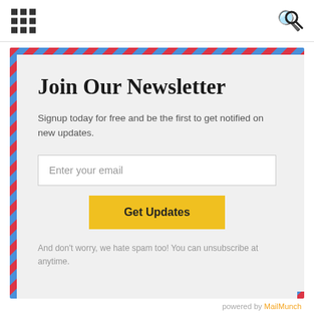Join Our Newsletter
Signup today for free and be the first to get notified on new updates.
Enter your email
Get Updates
And don't worry, we hate spam too! You can unsubscribe at anytime.
powered by MailMunch